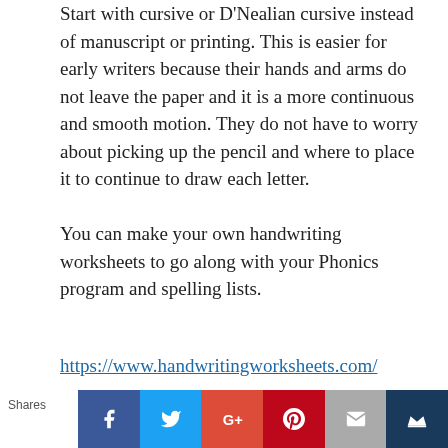Start with cursive or D'Nealian cursive instead of manuscript or printing. This is easier for early writers because their hands and arms do not leave the paper and it is a more continuous and smooth motion. They do not have to worry about picking up the pencil and where to place it to continue to draw each letter.
You can make your own handwriting worksheets to go along with your Phonics program and spelling lists.
https://www.handwritingworksheets.com/
Spelling
Spelling as a subject should be closely related to what your child is learning or has learned with their Phonics program. If you tie the learning of word families from the Phonics program to the spelling with
Shares | Facebook | Twitter | Google+ | Pinterest | Email | Crown